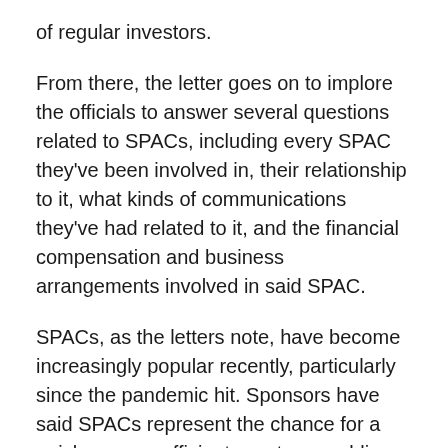of regular investors.
From there, the letter goes on to implore the officials to answer several questions related to SPACs, including every SPAC they've been involved in, their relationship to it, what kinds of communications they've had related to it, and the financial compensation and business arrangements involved in said SPAC.
SPACs, as the letters note, have become increasingly popular recently, particularly since the pandemic hit. Sponsors have said SPACs represent the chance for a quicker, more efficient way to go public, eschewing the normal process of an IPO.